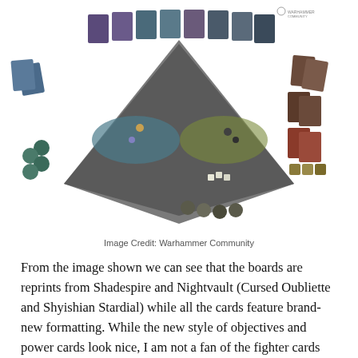[Figure (photo): Overhead perspective photo of a Warhammer Underworlds board game spread showing the game board with miniatures, surrounding cards, dice, and tokens. A small Warhammer Community logo is visible in the upper right corner.]
Image Credit: Warhammer Community
From the image shown we can see that the boards are reprints from Shadespire and Nightvault (Cursed Oubliette and Shyishian Stardial) while all the cards feature brand-new formatting. While the new style of objectives and power cards look nice, I am not a fan of the fighter cards changing so that all the characteristics of a fighter are now above their attack actions.
As for when this will drop, maybe May I guess? In